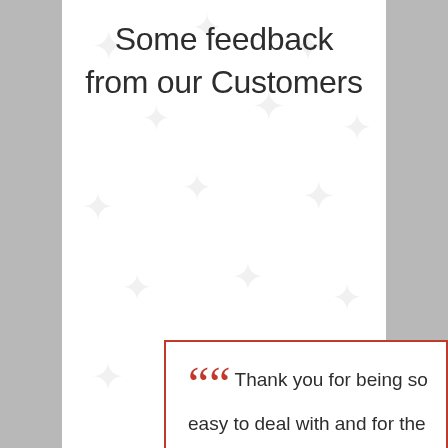Some feedback from our Customers
““ Thank you for being so easy to deal with and for the fantastic service. Will recommend your business to others needing a spa lid. Kind regards Amanda